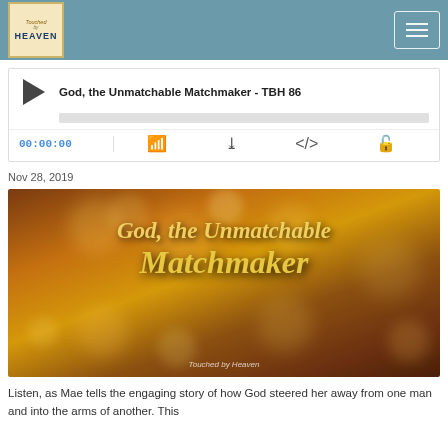Touched by Heaven podcast header with logo and hamburger menu
God, the Unmatchable Matchmaker - TBH 86
00:00:00
Nov 28, 2019
[Figure (illustration): Podcast episode thumbnail image with bokeh background in warm brown/gold tones. Text reads 'God, the Unmatchable Matchmaker' in golden italic font. Bottom text says 'Touched by Heaven'.]
Listen, as Mae tells the engaging story of how God steered her away from one man and into the arms of another. This